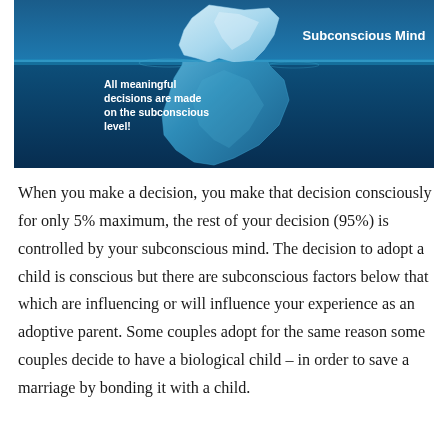[Figure (infographic): An iceberg illustration shaped like the African continent submerged in deep blue water. Above water text reads 'Subconscious Mind' in bold white. Below water text reads 'All meaningful decisions are made on the subconscious level!' in bold white.]
When you make a decision, you make that decision consciously for only 5% maximum, the rest of your decision (95%) is controlled by your subconscious mind. The decision to adopt a child is conscious but there are subconscious factors below that which are influencing or will influence your experience as an adoptive parent. Some couples adopt for the same reason some couples decide to have a biological child – in order to save a marriage by bonding it with a child.